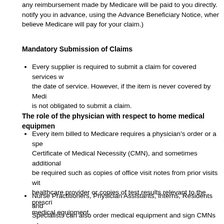any reimbursement made by Medicare will be paid to you directly. notify you in advance, using the Advance Beneficiary Notice, wher believe Medicare will pay for your claim.)
Mandatory Submission of Claims
Every supplier is required to submit a claim for covered services w the date of service. However, if the item is never covered by Medi is not obligated to submit a claim.
The role of the physician with respect to home medical equipmen
Every item billed to Medicare requires a physician's order or a spe Certificate of Medical Necessity (CMN), and sometimes additional be required such as copies of office visit notes from prior visits wit healthcare provider or copies of test results relevant to the prescri medical equipment.
Nurse Practitioners, Physician Assistants, Interns, Residents and Specialists can also order medical equipment and sign CMNs whe you.